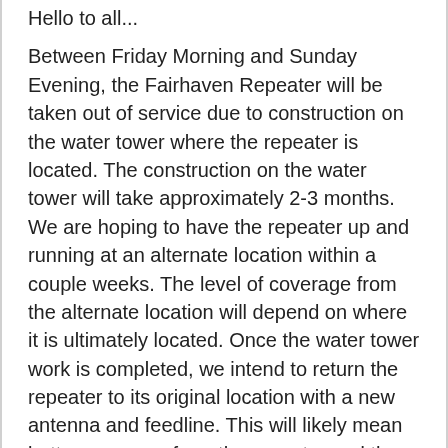Hello to all...

Between Friday Morning and Sunday Evening, the Fairhaven Repeater will be taken out of service due to construction on the water tower where the repeater is located. The construction on the water tower will take approximately 2-3 months. We are hoping to have the repeater up and running at an alternate location within a couple weeks. The level of coverage from the alternate location will depend on where it is ultimately located. Once the water tower work is completed, we intend to return the repeater to its original location with a new antenna and feedline. This will likely mean better coverage from the repeater and the resolution of some of the crackling and other issues we've had at times with the repeater over the past few years.